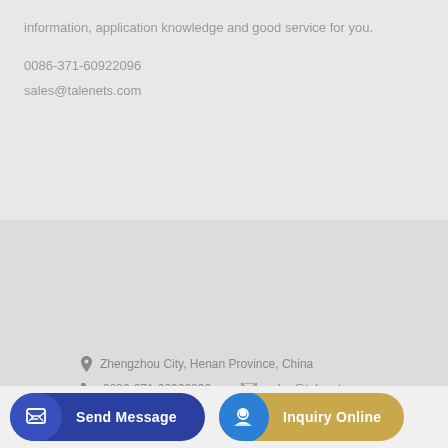information, application knowledge and good service for you.
0086-371-60922096
sales@talenets.com
[Figure (logo): Talenet company logo with red ellipse swoosh and dark blue bold text TALENET]
Zhengzhou City, Henan Province, China
0086-371-60922096   sales@talenets.com
Send Message
Inquiry Online